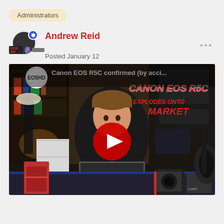Administrators
Andrew Reid
Posted January 12
[Figure (screenshot): YouTube video thumbnail showing a man sitting at a desk with cameras and equipment, with EOSHD logo and title 'Canon EOS R5C confirmed (by acci...' and overlay text 'CANON EOS R5C EXPLODES ONTO MARKET' with a red play button in center]